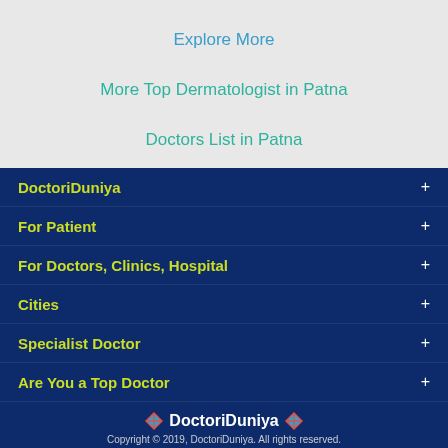Explore More
More Top Dermatologist in Patna
Doctors List in Patna
DoctoriDuniya +
For Patient +
For Doctors, Clinics, Hospital +
Cities +
Specialist Doctor +
Are You a Top Doctor +
DoctoriDuniya Copyright © 2019, DoctoriDuniya. All rights reserved.